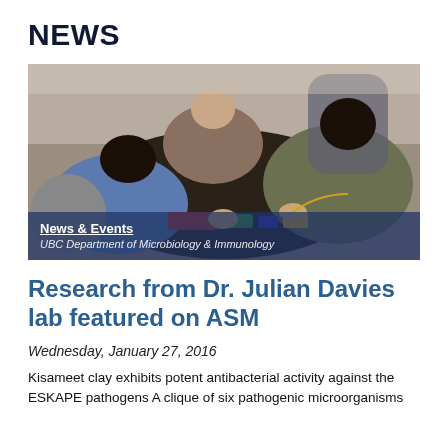NEWS
[Figure (photo): Overhead photo of people sitting on the ground working with electronics/craft materials outdoors, with a banner overlay reading 'News & Events' and 'UBC Department of Microbiology & Immunology']
Research from Dr. Julian Davies lab featured on ASM
Wednesday, January 27, 2016
Kisameet clay exhibits potent antibacterial activity against the ESKAPE pathogens A clique of six pathogenic microorganisms